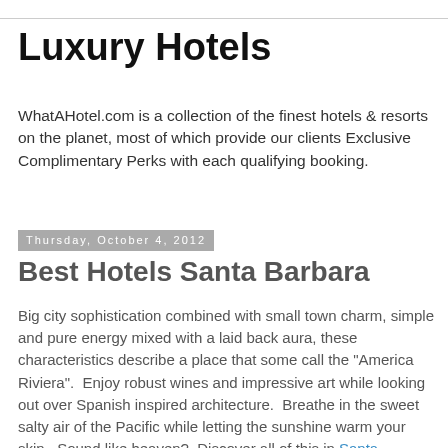Luxury Hotels
WhatAHotel.com is a collection of the finest hotels & resorts on the planet, most of which provide our clients Exclusive Complimentary Perks with each qualifying booking.
Thursday, October 4, 2012
Best Hotels Santa Barbara
Big city sophistication combined with small town charm, simple and pure energy mixed with a laid back aura, these characteristics describe a place that some call the "America Riviera".  Enjoy robust wines and impressive art while looking out over Spanish inspired architecture.  Breathe in the sweet salty air of the Pacific while letting the sunshine warm your skin.  Sound like heaven?  Discover all of this in Santa Barbara, California where European culture meshes with West Coast attitude.